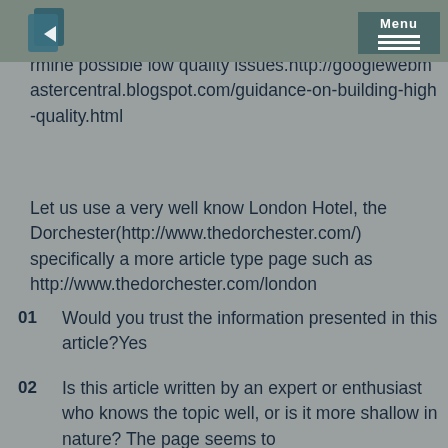Menu
penalized by the Panda updates? Google provided an extensive list of questions to help webmasters determine possible low quality issues.http://googlewebmastercentral.blogspot.com/guidance-on-building-high-quality.html
Let us use a very well know London Hotel, the Dorchester(http://www.thedorchester.com/) specifically a more article type page such as http://www.thedorchester.com/london
01 Would you trust the information presented in this article?Yes
02 Is this article written by an expert or enthusiast who knows the topic well, or is it more shallow in nature? The page seems to